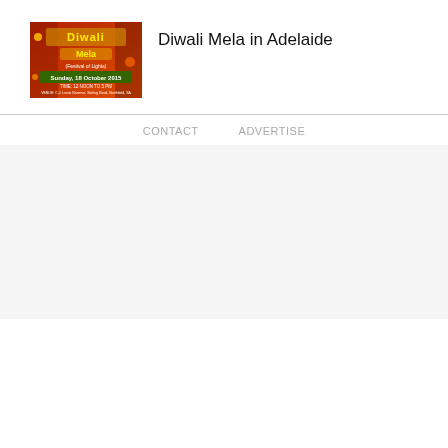[Figure (illustration): Diwali Mela event poster — colorful graphic with yellow and green text on red/orange festive background. Text reads: Diwali Mela, (Festival of Lights), Sunday, 18 October 2015, TIME: 12 NOON TO 5 PM, VENUE: C.J. Lewis Reserve, Stirling Road, Northfield, SA]
Diwali Mela in Adelaide
CONTACT   ADVERTISE